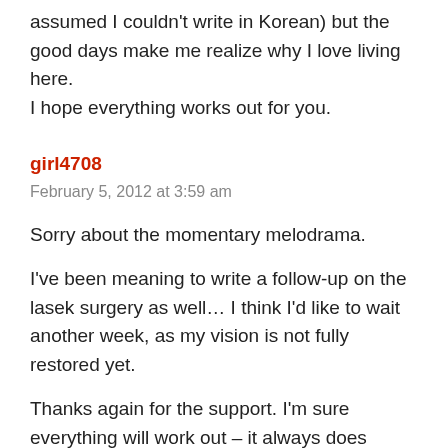assumed I couldn't write in Korean) but the good days make me realize why I love living here.
I hope everything works out for you.
girl4708
February 5, 2012 at 3:59 am
Sorry about the momentary melodrama.
I've been meaning to write a follow-up on the lasek surgery as well… I think I'd like to wait another week, as my vision is not fully restored yet.
Thanks again for the support. I'm sure everything will work out – it always does somehow.